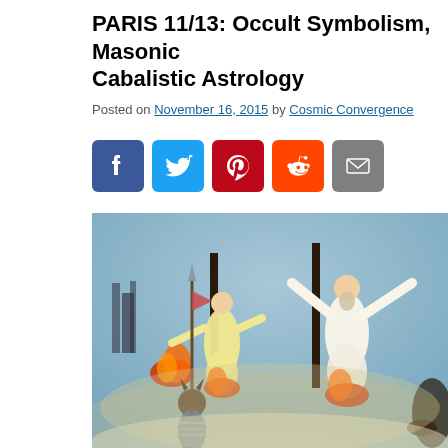PARIS 11/13: Occult Symbolism, Masonic Cabalistic Astrology
Posted on November 16, 2015 by Cosmic Convergence
[Figure (infographic): Social sharing buttons: Facebook, Twitter, Pinterest, Reddit, Email, and a + (more) button]
[Figure (illustration): Historical illustration showing robed figures tied to stakes being burned, with a soldier holding a spear and crowds around them, set against a smoky, flame-filled sky]